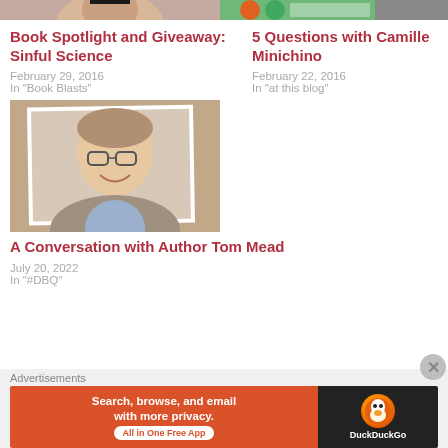[Figure (photo): Cropped thumbnail of a person (top portion), left column]
[Figure (photo): Cropped thumbnail with orange/green tones, right column]
Book Spotlight and Giveaway: Sinful Science
February 29, 2016
In “Book Blasts”
5 Questions with Camille Minichino
February 22, 2016
In “at this blog”
[Figure (photo): Photo of a smiling man with glasses and gray-brown jacket on a decorative background, left column]
A Conversation with Author Tom Mead
July 20, 2022
In “#DBQ”
Advertisements
[Figure (other): DuckDuckGo advertisement banner: 'Search, browse, and email with more privacy. All in One Free App' on orange background with DuckDuckGo logo on dark background]